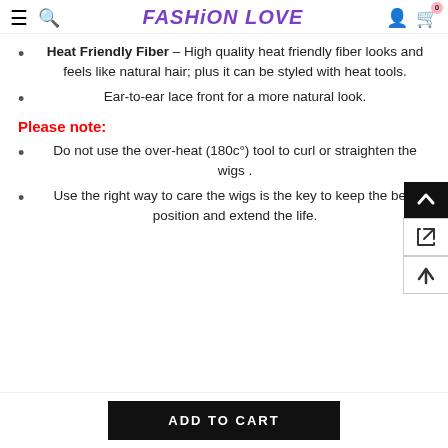FASHION LOVE
Heat Friendly Fiber – High quality heat friendly fiber looks and feels like natural hair; plus it can be styled with heat tools.
Ear-to-ear lace front for a more natural look.
Please note:
Do not use the over-heat (180c°) tool to curl or straighten the wigs .
Use the right way to care the wigs is the key to keep the best position and extend the life.